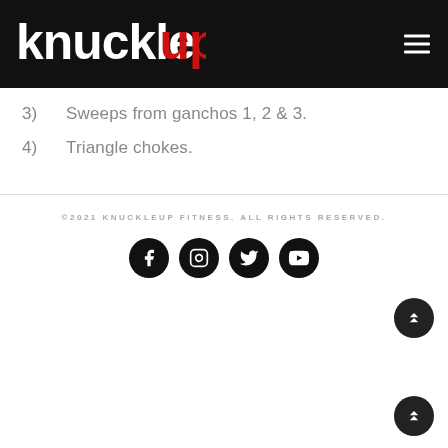Knuckle Up logo and navigation header
3)   Sweeps from ganchos 1, 2 & 3.
4)   Triangle chokes.
©2021 KNUCKLEUP FITNESS. ALL RIGHTS RESERVED.